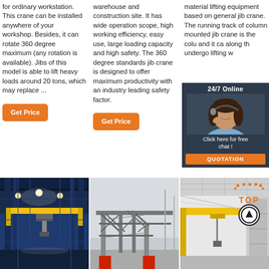for ordinary workstation. This crane can be installed anywhere of your workshop. Besides, it can rotate 360 degree maximum (any rotation is available). Jibs of this model is able to lift heavy loads around 20 tons, which may replace ...
warehouse and construction site. It has wide operation scope, high working efficiency, easy use, large loading capacity and high safety. The 360 degree standards jib crane is designed to offer maximum productivity with an industry leading safety factor.
material lifting equipment based on general jib crane. The running track of column mounted jib crane is [partially obscured] the colu[mn] and it ca[n move] along th[e] underg[round] lifting w[ay]
[Figure (other): 24/7 Online chat popup with woman customer service representative, orange QUOTATION button]
Get Price
Get Price
Get P[rice] (partially obscured)
[Figure (photo): Industrial overhead crane inside a large warehouse/factory with yellow bridge and bright lights]
[Figure (photo): Outdoor construction crane structure with red base, grey metalwork against overcast sky]
[Figure (photo): Interior of warehouse with yellow ceiling crane, with TOP logo overlay showing orange dots and upward arrow]